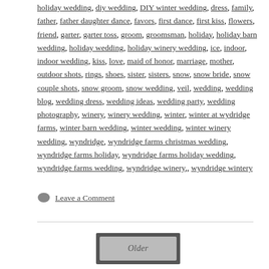holiday wedding, diy wedding, DIY winter wedding, dress, family, father, father daughter dance, favors, first dance, first kiss, flowers, friend, garter, garter toss, groom, groomsman, holiday, holiday barn wedding, holiday wedding, holiday winery wedding, ice, indoor, indoor wedding, kiss, love, maid of honor, marriage, mother, outdoor shots, rings, shoes, sister, sisters, snow, snow bride, snow couple shots, snow groom, snow wedding, veil, wedding, wedding blog, wedding dress, wedding ideas, wedding party, wedding photography, winery, winery wedding, winter, winter at wydridge farms, winter barn wedding, winter wedding, winter winery wedding, wyndridge, wyndridge farms christmas wedding, wyndridge farms holiday, wyndridge farms holiday wedding, wyndridge farms wedding, wyndridge winery,, wyndridge wintery
Leave a Comment